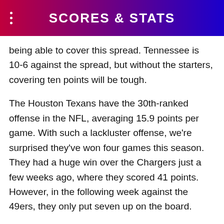SCORES & STATS
being able to cover this spread. Tennessee is 10-6 against the spread, but without the starters, covering ten points will be tough.
The Houston Texans have the 30th-ranked offense in the NFL, averaging 15.9 points per game. With such a lackluster offense, we're surprised they've won four games this season. They had a huge win over the Chargers just a few weeks ago, where they scored 41 points. However, in the following week against the 49ers, they only put seven up on the board.
Taking on the Tennessee defense is going to be a tough task. The Texans rank last in the league in rushing yards per game, just 84.9. Their passing offense is ranked No. 30